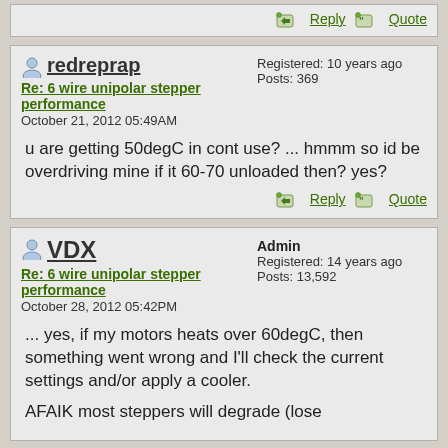Reply | Quote
redreprap
Re: 6 wire unipolar stepper performance
October 21, 2012 05:49AM
Registered: 10 years ago
Posts: 369
u are getting 50degC in cont use? ... hmmm so id be overdriving mine if it 60-70 unloaded then? yes?
Reply | Quote
VDX
Re: 6 wire unipolar stepper performance
October 28, 2012 05:42PM
Admin
Registered: 14 years ago
Posts: 13,592
... yes, if my motors heats over 60degC, then something went wrong and I'll check the current settings and/or apply a cooler.
AFAIK most steppers will degrade (lose ...